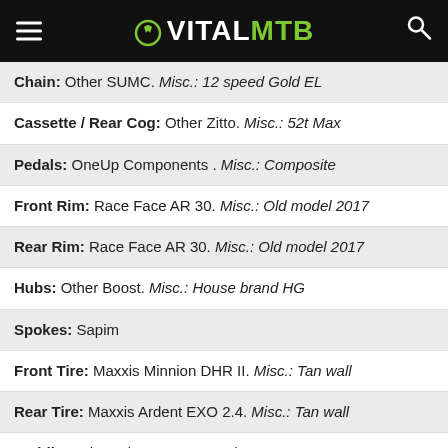VITALMTB
Chain: Other SUMC. Misc.: 12 speed Gold EL
Cassette / Rear Cog: Other Zitto. Misc.: 52t Max
Pedals: OneUp Components . Misc.: Composite
Front Rim: Race Face AR 30. Misc.: Old model 2017
Rear Rim: Race Face AR 30. Misc.: Old model 2017
Hubs: Other Boost. Misc.: House brand HG
Spokes: Sapim
Front Tire: Maxxis Minnion DHR II. Misc.: Tan wall
Rear Tire: Maxxis Ardent EXO 2.4. Misc.: Tan wall
Saddle: Velo . Misc.: Brown Leather
Seatpost: Brand-X Ascend. Misc.: 150mm